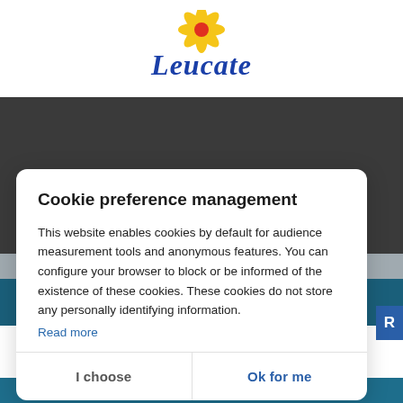[Figure (logo): Leucate municipality logo with yellow sunflower and blue italic script text]
Cookie preference management
This website enables cookies by default for audience measurement tools and anonymous features. You can configure your browser to block or be informed of the existence of these cookies. These cookies do not store any personally identifying information.
Read more
I choose
Ok for me